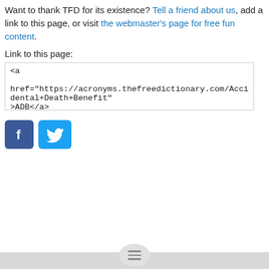Want to thank TFD for its existence? Tell a friend about us, add a link to this page, or visit the webmaster's page for free fun content.
Link to this page:
<a href="https://acronyms.thefreedictionary.com/Accidental+Death+Benefit">ADB</a>
[Figure (logo): Facebook and Twitter social media icons side by side]